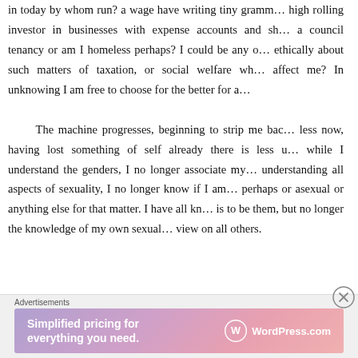in today by whom run? a wage have writing tiny gramm... high rolling investor in businesses with expense accounts and sh... a council tenancy or am I homeless perhaps? I could be any o... ethically about such matters of taxation, or social welfare wh... affect me? In unknowing I am free to choose for the better for a... The machine progresses, beginning to strip me bac... less now, having lost something of self already there is less u... while I understand the genders, I no longer associate my... understanding all aspects of sexuality, I no longer know if I am... perhaps or asexual or anything else for that matter. I have all kn... is to be them, but no longer the knowledge of my own sexual... view on all others.
[Figure (other): Advertisement banner for WordPress.com reading 'Simplified pricing for everything you need.' with WordPress.com logo]